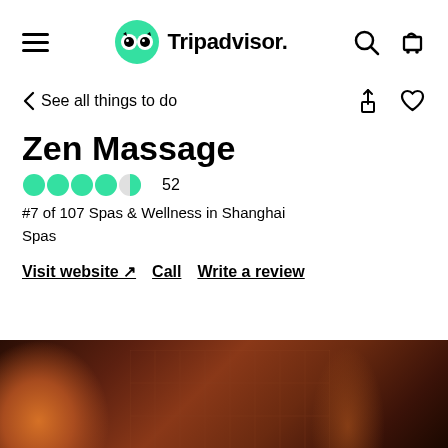[Figure (logo): Tripadvisor navigation bar with hamburger menu, Tripadvisor owl logo in green circle, search icon and cart icon]
See all things to do
Zen Massage
4.5 stars  52
#7 of 107 Spas & Wellness in Shanghai Spas
Visit website ↗  Call  Write a review
[Figure (photo): Interior photo of Zen Massage showing warm amber lighting with dark wooden textures, honeycomb pattern walls]